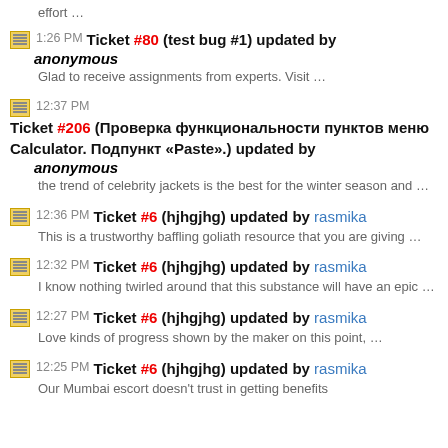1:26 PM Ticket #80 (test bug #1) updated by anonymous
Glad to receive assignments from experts. Visit …
12:37 PM Ticket #206 (Проверка функциональности пунктов меню Calculator. Подпункт «Paste».) updated by anonymous
the trend of celebrity jackets is the best for the winter season and …
12:36 PM Ticket #6 (hjhgjhg) updated by rasmika
This is a trustworthy baffling goliath resource that you are giving …
12:32 PM Ticket #6 (hjhgjhg) updated by rasmika
I know nothing twirled around that this substance will have an epic …
12:27 PM Ticket #6 (hjhgjhg) updated by rasmika
Love kinds of progress shown by the maker on this point, …
12:25 PM Ticket #6 (hjhgjhg) updated by rasmika
Our Mumbai escort doesn't trust in getting benefits